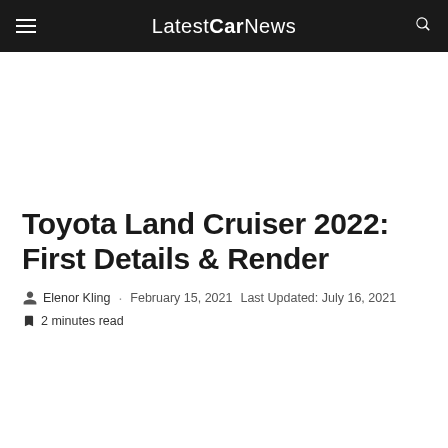LatestCarNews
Toyota Land Cruiser 2022: First Details & Render
Elenor Kling · February 15, 2021  Last Updated: July 16, 2021
2 minutes read